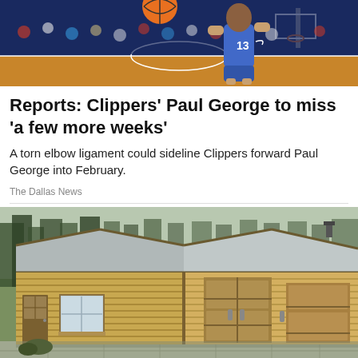[Figure (photo): Basketball player in blue Clippers jersey dribbling/handling a basketball, crowd and arena in background]
Reports: Clippers' Paul George to miss 'a few more weeks'
A torn elbow ligament could sideline Clippers forward Paul George into February.
The Dallas News
[Figure (photo): A wooden log cabin/garage structure with a pitched roof, small windows, and large double doors, set on a paved area with trees in background]